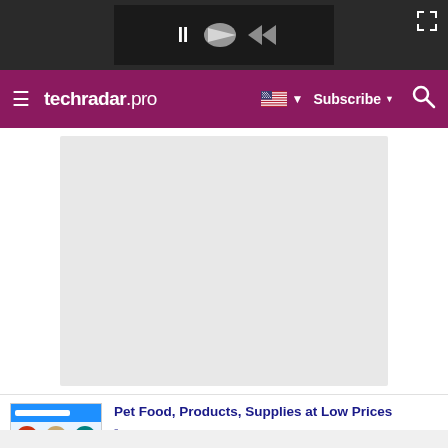[Figure (screenshot): Dark video player bar at top with pause icon and expand/fullscreen controls]
techradar pro — navigation bar with hamburger menu, flag/language selector, Subscribe button, and search icon
[Figure (other): Gray placeholder content area rectangle]
[Figure (screenshot): Advertisement banner: Pet Food, Products, Supplies at Low Prices - Pay the lowest prices on pet supplies at Chewy.com — chewy.com, with product thumbnail images and blue arrow CTA button]